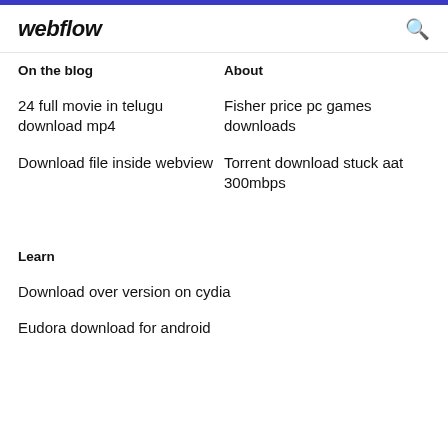webflow
On the blog
About
24 full movie in telugu download mp4
Fisher price pc games downloads
Download file inside webview
Torrent download stuck aat 300mbps
Learn
Download over version on cydia
Eudora download for android